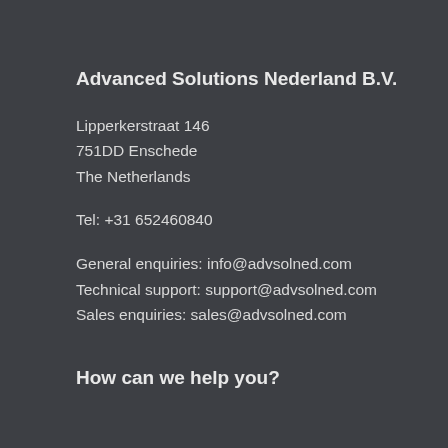Advanced Solutions Nederland B.V.
Lipperkerstraat 146
751DD Enschede
The Netherlands
Tel: +31 652460840
General enquiries: info@advsolned.com
Technical support: support@advsolned.com
Sales enquiries: sales@advsolned.com
How can we help you?